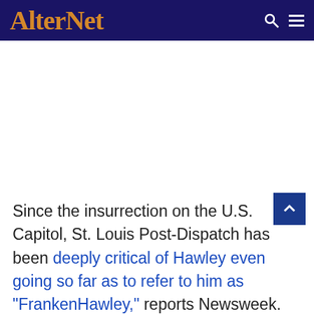AlterNet
Since the insurrection on the U.S. Capitol, St. Louis Post-Dispatch has been deeply critical of Hawley even going so far as to refer to him as "FrankenHawley," reports Newsweek.